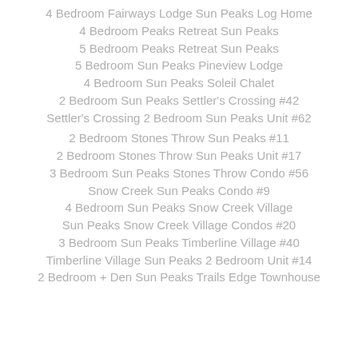4 Bedroom Fairways Lodge Sun Peaks Log Home
4 Bedroom Peaks Retreat Sun Peaks
5 Bedroom Peaks Retreat Sun Peaks
5 Bedroom Sun Peaks Pineview Lodge
4 Bedroom Sun Peaks Soleil Chalet
2 Bedroom Sun Peaks Settler's Crossing #42
Settler's Crossing 2 Bedroom Sun Peaks Unit #62
2 Bedroom Stones Throw Sun Peaks #11
2 Bedroom Stones Throw Sun Peaks Unit #17
3 Bedroom Sun Peaks Stones Throw Condo #56
Snow Creek Sun Peaks Condo #9
4 Bedroom Sun Peaks Snow Creek Village
Sun Peaks Snow Creek Village Condos #20
3 Bedroom Sun Peaks Timberline Village #40
Timberline Village Sun Peaks 2 Bedroom Unit #14
2 Bedroom + Den Sun Peaks Trails Edge Townhouse